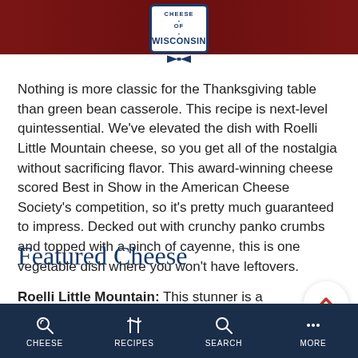[Figure (photo): Top partial image of food/recipe page with red background, and Cheese of Wisconsin circular badge logo centered]
Nothing is more classic for the Thanksgiving table than green bean casserole. This recipe is next-level quintessential. We've elevated the dish with Roelli Little Mountain cheese, so you get all of the nostalgia without sacrificing flavor. This award-winning cheese scored Best in Show in the American Cheese Society's competition, so it's pretty much guaranteed to impress. Decked out with crunchy panko crumbs and topped with a pinch of cayenne, this is one vegetable dish where you won't have leftovers.
Featured Cheese
Roelli Little Mountain: This stunner is a washed rind, alpine-style cheese with beautifully...
CHEESE   RECIPES   SEARCH   MORE